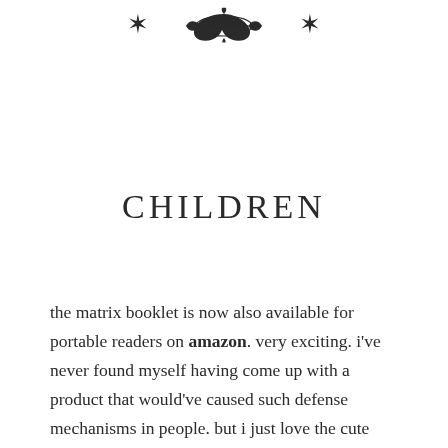[Figure (illustration): Decorative ornamental divider with three floral/scroll motifs arranged horizontally at the top of the page]
CHILDREN
the matrix booklet is now also available for portable readers on amazon. very exciting. i've never found myself having come up with a product that would've caused such defense mechanisms in people. but i just love the cute little thing and very much enjoyed re-editing